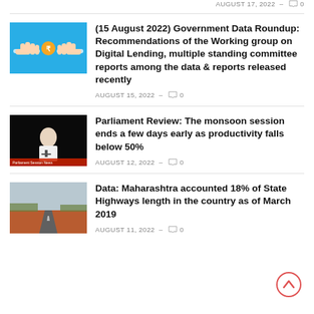AUGUST 17, 2022 – 🗨 0
[Figure (illustration): Thumbnail showing two hands exchanging something on a blue background, representing digital lending concept]
(15 August 2022) Government Data Roundup: Recommendations of the Working group on Digital Lending, multiple standing committee reports among the data & reports released recently
AUGUST 15, 2022 – 🗨 0
[Figure (photo): Photo of a man in white shirt speaking at a podium in a dark setting, Parliament session]
Parliament Review: The monsoon session ends a few days early as productivity falls below 50%
AUGUST 12, 2022 – 🗨 0
[Figure (photo): Photo of a road with red soil/dirt in the foreground and a highway stretching into the distance]
Data: Maharashtra accounted 18% of State Highways length in the country as of March 2019
AUGUST 11, 2022 – 🗨 0